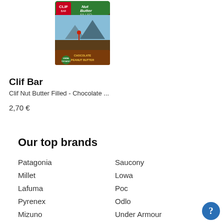[Figure (photo): Clif Nut Butter Filled Chocolate Peanut Butter bar product image]
Clif Bar
Clif Nut Butter Filled - Chocolate ...
2,70 €
Our top brands
Patagonia
Millet
Lafuma
Pyrenex
Mizuno
Saucony
Lowa
Poc
Odlo
Under Armour